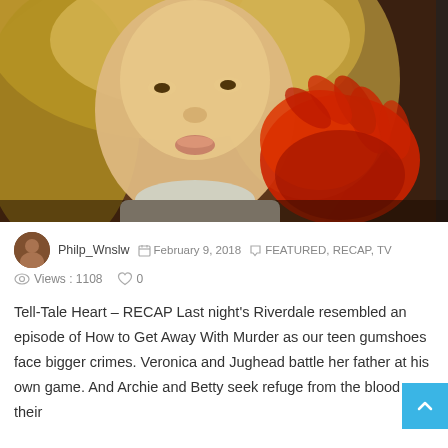[Figure (photo): Close-up of a blonde woman with an expression of shock or fear, holding up a blood-red hand toward the camera. Scene from Riverdale TV show.]
Philp_Wnslw  February 9, 2018  FEATURED, RECAP, TV
Views : 1108   0
Tell-Tale Heart – RECAP Last night's Riverdale resembled an episode of How to Get Away With Murder as our teen gumshoes face bigger crimes. Veronica and Jughead battle her father at his own game. And Archie and Betty seek refuge from the blood on their